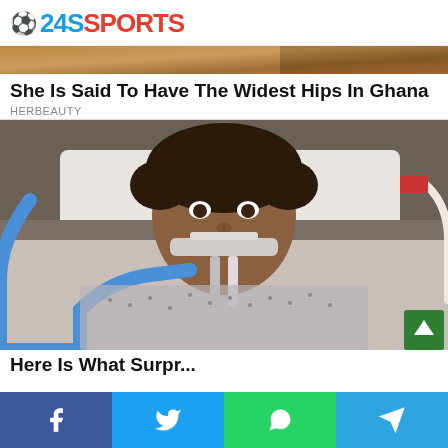24SSPORTS
[Figure (photo): Partial top of an outdoor photo strip (advertisement/promo image)]
She Is Said To Have The Widest Hips In Ghana
HERBEAUTY
[Figure (photo): Woman lying in a hospital bed with breathing tubes attached to her face, wearing a patterned hospital gown]
Here Is What Surpr...
Facebook | Twitter | WhatsApp | Telegram